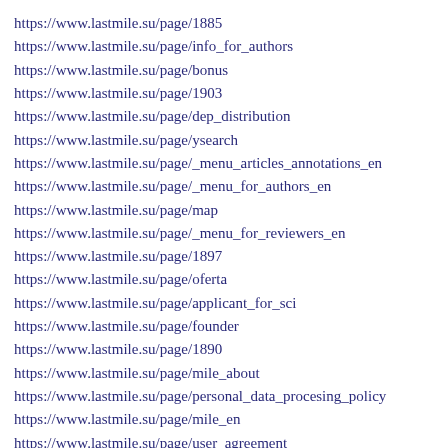https://www.lastmile.su/page/1885
https://www.lastmile.su/page/info_for_authors
https://www.lastmile.su/page/bonus
https://www.lastmile.su/page/1903
https://www.lastmile.su/page/dep_distribution
https://www.lastmile.su/page/ysearch
https://www.lastmile.su/page/_menu_articles_annotations_en
https://www.lastmile.su/page/_menu_for_authors_en
https://www.lastmile.su/page/map
https://www.lastmile.su/page/_menu_for_reviewers_en
https://www.lastmile.su/page/1897
https://www.lastmile.su/page/oferta
https://www.lastmile.su/page/applicant_for_sci
https://www.lastmile.su/page/founder
https://www.lastmile.su/page/1890
https://www.lastmile.su/page/mile_about
https://www.lastmile.su/page/personal_data_procesing_policy
https://www.lastmile.su/page/mile_en
https://www.lastmile.su/page/user_agreement
https://www.lastmile.su/page/oplata_dostavka
https://www.lastmile.su/page/mile_editors
https://www.lastmile.su/page/obmen_i_vozvrat
https://www.lastmile.su/page/1902
https://www.lastmile.su/page/mile_distribution
https://www.lastmile.su/page/mile_adjournal